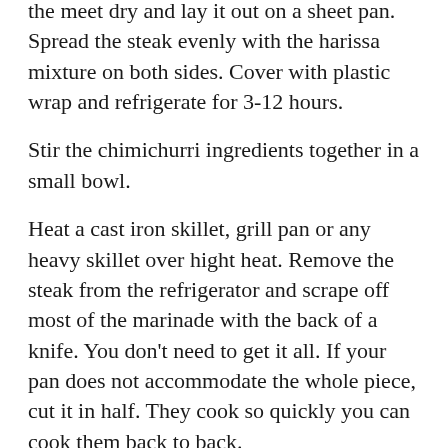the meet dry and lay it out on a sheet pan. Spread the steak evenly with the harissa mixture on both sides. Cover with plastic wrap and refrigerate for 3-12 hours.
Stir the chimichurri ingredients together in a small bowl.
Heat a cast iron skillet, grill pan or any heavy skillet over hight heat. Remove the steak from the refrigerator and scrape off most of the marinade with the back of a knife. You don't need to get it all. If your pan does not accommodate the whole piece, cut it in half. They cook so quickly you can cook them back to back.
Put the steak in the pan and turn the heat down to medium-high. Cook for about 3 minutes. Turn over and cook for an additional 2 minutes for medium rare. Cooking time will depend on the thickness of your steak. Err on the side of less time on the heat as this cut can get chewy if it's cooked beyond medium rare. Remove